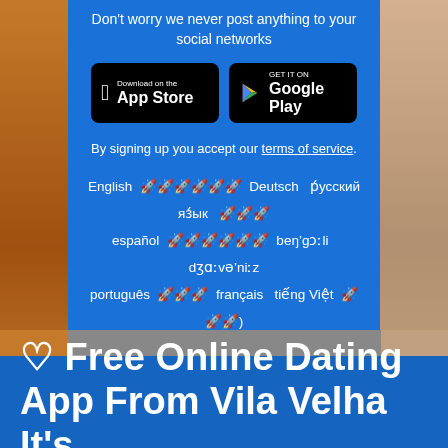Don't worry we never post anything to your social networks
[Figure (logo): App Store download button (black, Apple logo)]
[Figure (logo): Google Play download button (black, Play logo)]
By signing up you accept our terms of service.
English ???????????? Deutsch р́усский яз́ык ??? español ???????????? beŋ'gɔːli dʒɑːvə'niːz português ??? français tiếng Việt ???) Bahasa Indonesia
Dating  Chat  Blog
♥ Free Online Dating App From Vila Velha It's